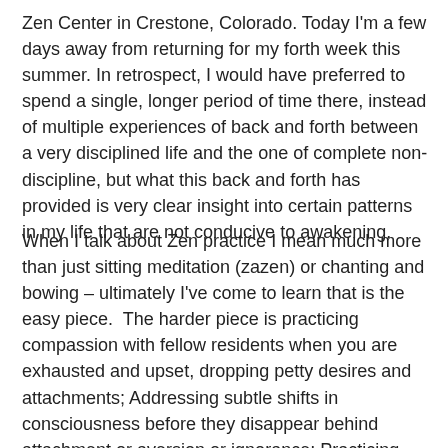Zen Center in Crestone, Colorado. Today I'm a few days away from returning for my forth week this summer. In retrospect, I would have preferred to spend a single, longer period of time there, instead of multiple experiences of back and forth between a very disciplined life and the one of complete non-discipline, but what this back and forth has provided is very clear insight into certain patterns in my life that are not conducive to awakening.
When I talk about Zen practice I mean much more than just sitting meditation (zazen) or chanting and bowing – ultimately I've come to learn that is the easy piece.  The harder piece is practicing compassion with fellow residents when you are exhausted and upset, dropping petty desires and attachments; Addressing subtle shifts in consciousness before they disappear behind attachment or aversion or ignorance; Practicing compassion and patience inwardly, not judging oneself for absolutely detesting the 4:30 wake-up call or 3 hours of work in the hot sun followed by cleaning toilets. A strange phenomenon occurs for me in my drifting in and out of the monastery: despite